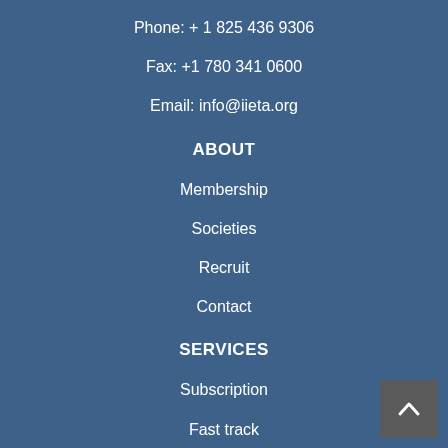Phone: + 1 825 436 9306
Fax: +1 780 341 0600
Email: info@iieta.org
ABOUT
Membership
Societies
Recruit
Contact
SERVICES
Subscription
Fast track
Language support
Conference